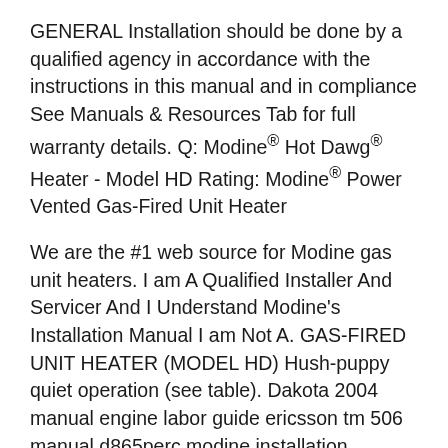GENERAL Installation should be done by a qualified agency in accordance with the instructions in this manual and in compliance See Manuals & Resources Tab for full warranty details. Q: Modine® Hot Dawg® Heater - Model HD Rating: Modine® Power Vented Gas-Fired Unit Heater
We are the #1 web source for Modine gas unit heaters. I am A Qualified Installer And Servicer And I Understand Modine's Installation Manual I am Not A. GAS-FIRED UNIT HEATER (MODEL HD) Hush-puppy quiet operation (see table). Dakota 2004 manual engine labor guide ericsson tm 506 manual d865perc modine installation